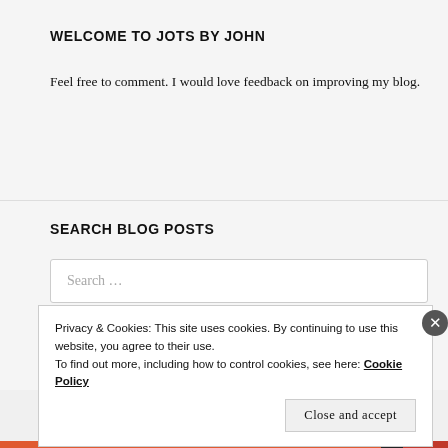WELCOME TO JOTS BY JOHN
Feel free to comment. I would love feedback on improving my blog.
SEARCH BLOG POSTS
Search …
Privacy & Cookies: This site uses cookies. By continuing to use this website, you agree to their use.
To find out more, including how to control cookies, see here: Cookie Policy
Close and accept